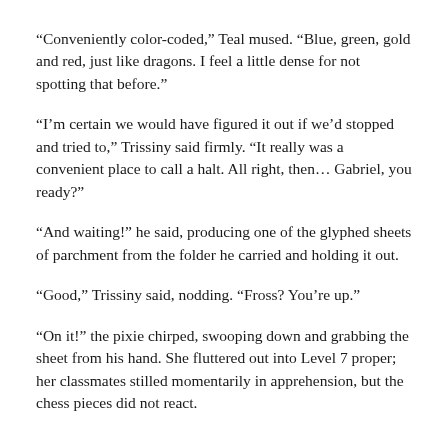“Conveniently color-coded,” Teal mused. “Blue, green, gold and red, just like dragons. I feel a little dense for not spotting that before.”
“I’m certain we would have figured it out if we’d stopped and tried to,” Trissiny said firmly. “It really was a convenient place to call a halt. All right, then… Gabriel, you ready?”
“And waiting!” he said, producing one of the glyphed sheets of parchment from the folder he carried and holding it out.
“Good,” Trissiny said, nodding. “Fross? You’re up.”
“On it!” the pixie chirped, swooping down and grabbing the sheet from his hand. She fluttered out into Level 7 proper; her classmates stilled momentarily in apprehension, but the chess pieces did not react.